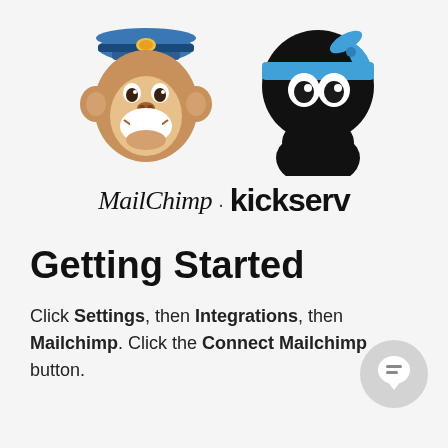[Figure (logo): MailChimp monkey mascot logo (chimp with blue captain hat, smiling) and Kickserv ninja mascot (black round head with blue headband) side by side, with brand names 'MailChimp' in script and 'kickserv' in bold sans-serif below]
Getting Started
Click Settings, then Integrations, then Mailchimp. Click the Connect Mailchimp button.
[Figure (illustration): Chat/support bubble icon in bottom right corner]